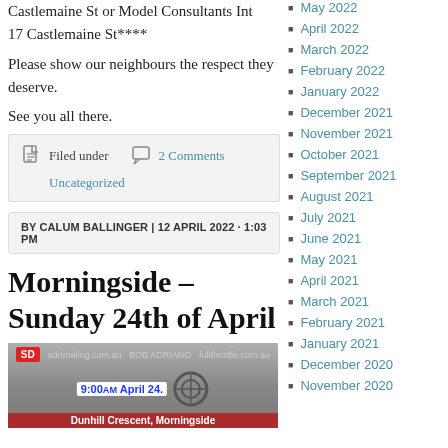Castlemaine St or Model Consultants Int 17 Castlemaine St****
Please show our neighbours the respect they deserve.
See you all there.
Filed under  2 Comments  Uncategorized
BY CALUM BALLINGER | 12 APRIL 2022 · 1:03 PM
Morningside – Sunday 24th of April
[Figure (photo): Event promotional image for Morningside race event on April 24, showing sponsor logos including SD and Bob Adriano, with text '9:00am April 24, Dunhill Crescent, Morningside']
May 2022
April 2022
March 2022
February 2022
January 2022
December 2021
November 2021
October 2021
September 2021
August 2021
July 2021
June 2021
May 2021
April 2021
March 2021
February 2021
January 2021
December 2020
November 2020